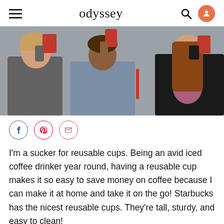odyssey
[Figure (photo): Three young people drinking from red cups outdoors]
[Figure (infographic): Social share icons: Facebook, Pinterest, Email]
I'm a sucker for reusable cups. Being an avid iced coffee drinker year round, having a reusable cup makes it so easy to save money on coffee because I can make it at home and take it on the go! Starbucks has the nicest reusable cups. They're tall, sturdy, and easy to clean!
5. Graphic tees
[Figure (photo): Partial bottom image]